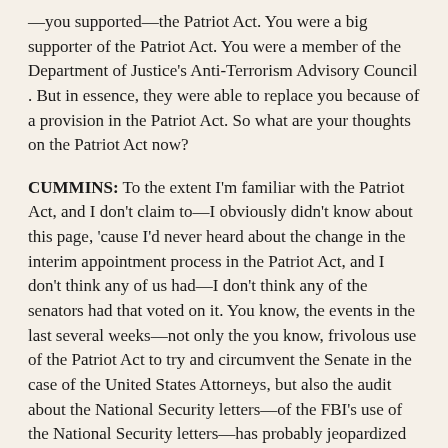—you supported—the Patriot Act. You were a big supporter of the Patriot Act. You were a member of the Department of Justice's Anti-Terrorism Advisory Council . But in essence, they were able to replace you because of a provision in the Patriot Act. So what are your thoughts on the Patriot Act now?
CUMMINS: To the extent I'm familiar with the Patriot Act, and I don't claim to—I obviously didn't know about this page, 'cause I'd never heard about the change in the interim appointment process in the Patriot Act, and I don't think any of us had—I don't think any of the senators had that voted on it. You know, the events in the last several weeks—not only the you know, frivolous use of the Patriot Act to try and circumvent the Senate in the case of the United States Attorneys, but also the audit about the National Security letters—of the FBI's use of the National Security letters—has probably jeopardized the future of the Patriot Act.
This discredits the whole project. And—and it would